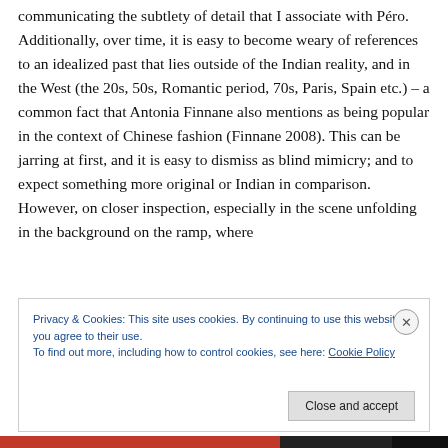communicating the subtlety of detail that I associate with Péro. Additionally, over time, it is easy to become weary of references to an idealized past that lies outside of the Indian reality, and in the West (the 20s, 50s, Romantic period, 70s, Paris, Spain etc.) – a common fact that Antonia Finnane also mentions as being popular in the context of Chinese fashion (Finnane 2008). This can be jarring at first, and it is easy to dismiss as blind mimicry; and to expect something more original or Indian in comparison. However, on closer inspection, especially in the scene unfolding in the background on the ramp, where
Privacy & Cookies: This site uses cookies. By continuing to use this website, you agree to their use.
To find out more, including how to control cookies, see here: Cookie Policy
Close and accept